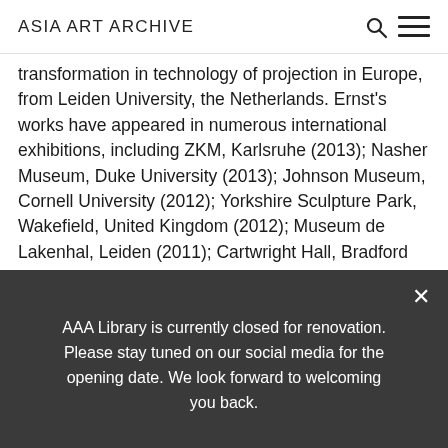ASIA ART ARCHIVE
transformation in technology of projection in Europe, from Leiden University, the Netherlands. Ernst's works have appeared in numerous international exhibitions, including ZKM, Karlsruhe (2013); Nasher Museum, Duke University (2013); Johnson Museum, Cornell University (2012); Yorkshire Sculpture Park, Wakefield, United Kingdom (2012); Museum de Lakenhal, Leiden (2011); Cartwright Hall, Bradford (2009); 9th Sharjah Biennial, Sharjah (2009); Royal Geographical Society, London (2008); Bodhi Art Gallery, New York (2008); National Art Gallery, Islamabad (2007); Apeejay Media Gallery, New
AAA Library is currently closed for renovation. Please stay tuned on our social media for the opening date. We look forward to welcoming you back.